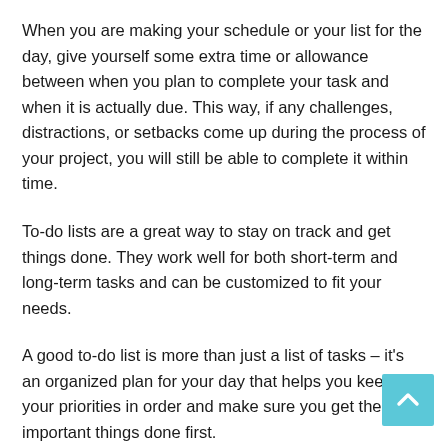When you are making your schedule or your list for the day, give yourself some extra time or allowance between when you plan to complete your task and when it is actually due. This way, if any challenges, distractions, or setbacks come up during the process of your project, you will still be able to complete it within time.
To-do lists are a great way to stay on track and get things done. They work well for both short-term and long-term tasks and can be customized to fit your needs.
A good to-do list is more than just a list of tasks – it's an organized plan for your day that helps you keep your priorities in order and make sure you get the most important things done first.
Some people find it helpful to use a physical notepad or old-